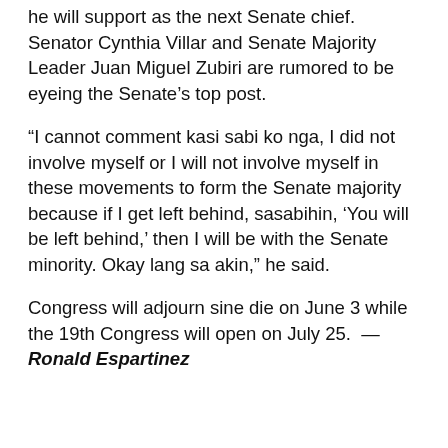he will support as the next Senate chief. Senator Cynthia Villar and Senate Majority Leader Juan Miguel Zubiri are rumored to be eyeing the Senate's top post.
“I cannot comment kasi sabi ko nga, I did not involve myself or I will not involve myself in these movements to form the Senate majority because if I get left behind, sasabihin, ‘You will be left behind,’ then I will be with the Senate minority. Okay lang sa akin,” he said.
Congress will adjourn sine die on June 3 while the 19th Congress will open on July 25.  — Ronald Espartinez